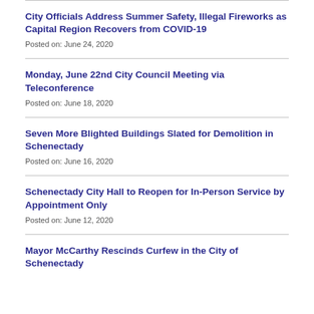City Officials Address Summer Safety, Illegal Fireworks as Capital Region Recovers from COVID-19
Posted on: June 24, 2020
Monday, June 22nd City Council Meeting via Teleconference
Posted on: June 18, 2020
Seven More Blighted Buildings Slated for Demolition in Schenectady
Posted on: June 16, 2020
Schenectady City Hall to Reopen for In-Person Service by Appointment Only
Posted on: June 12, 2020
Mayor McCarthy Rescinds Curfew in the City of Schenectady